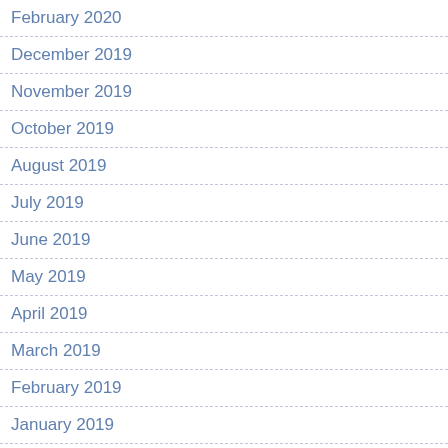February 2020
December 2019
November 2019
October 2019
August 2019
July 2019
June 2019
May 2019
April 2019
March 2019
February 2019
January 2019
November 2018
October 2018